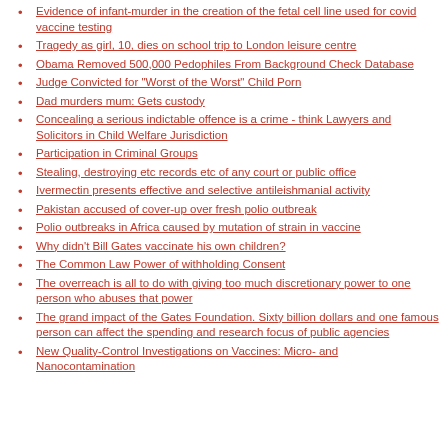Evidence of infant-murder in the creation of the fetal cell line used for covid vaccine testing
Tragedy as girl, 10, dies on school trip to London leisure centre
Obama Removed 500,000 Pedophiles From Background Check Database
Judge Convicted for "Worst of the Worst" Child Porn
Dad murders mum: Gets custody
Concealing a serious indictable offence is a crime - think Lawyers and Solicitors in Child Welfare Jurisdiction
Participation in Criminal Groups
Stealing, destroying etc records etc of any court or public office
Ivermectin presents effective and selective antileishmanial activity
Pakistan accused of cover-up over fresh polio outbreak
Polio outbreaks in Africa caused by mutation of strain in vaccine
Why didn't Bill Gates vaccinate his own children?
The Common Law Power of withholding Consent
The overreach is all to do with giving too much discretionary power to one person who abuses that power
The grand impact of the Gates Foundation. Sixty billion dollars and one famous person can affect the spending and research focus of public agencies
New Quality-Control Investigations on Vaccines: Micro- and Nanocontamination